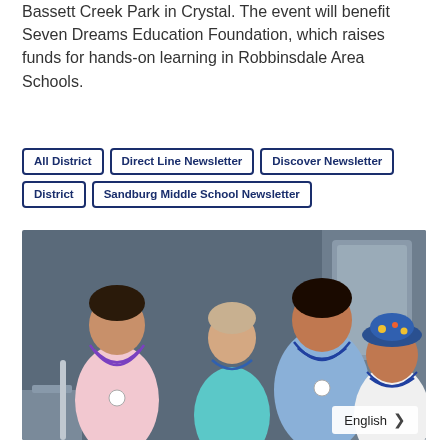Bassett Creek Park in Crystal. The event will benefit Seven Dreams Education Foundation, which raises funds for hands-on learning in Robbinsdale Area Schools.
All District
Direct Line Newsletter
Discover Newsletter
District
Sandburg Middle School Newsletter
[Figure (photo): Four young children standing together, wearing beaded necklaces and name badge lanyards. Three girls and one child with a floral bucket hat. Background shows what appears to be a bus interior.]
English >